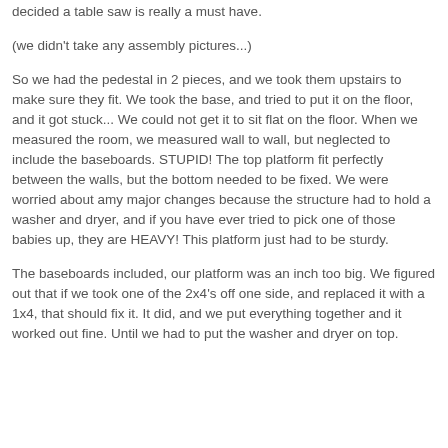decided a table saw is really a must have.
(we didn't take any assembly pictures...)
So we had the pedestal in 2 pieces, and we took them upstairs to make sure they fit. We took the base, and tried to put it on the floor, and it got stuck... We could not get it to sit flat on the floor. When we measured the room, we measured wall to wall, but neglected to include the baseboards. STUPID! The top platform fit perfectly between the walls, but the bottom needed to be fixed. We were worried about amy major changes because the structure had to hold a washer and dryer, and if you have ever tried to pick one of those babies up, they are HEAVY! This platform just had to be sturdy.
The baseboards included, our platform was an inch too big. We figured out that if we took one of the 2x4's off one side, and replaced it with a 1x4, that should fix it. It did, and we put everything together and it worked out fine. Until we had to put the washer and dryer on top.